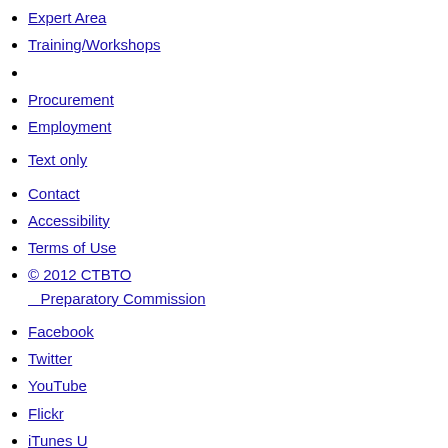Expert Area
Training/Workshops
Procurement
Employment
Text only
Contact
Accessibility
Terms of Use
© 2012 CTBTO Preparatory Commission
Facebook
Twitter
YouTube
Flickr
iTunes U
Home / Nuclear Testing / The effects of nuclear testing
Further reading